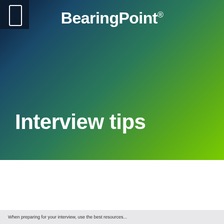[Figure (logo): BearingPoint logo with gradient background from dark navy blue to bright green]
Interview tips
When preparing for your interview, use the best resources...